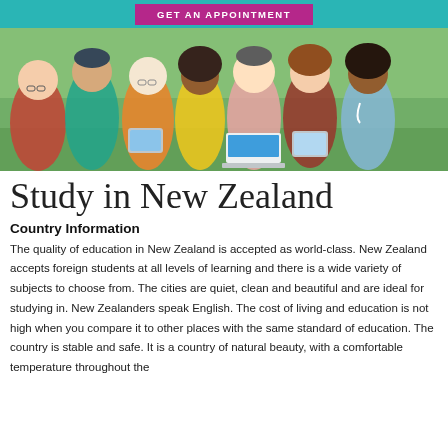GET AN APPOINTMENT
[Figure (photo): Group of seven diverse young people sitting together outdoors, smiling, some holding tablets and a laptop]
Study in New Zealand
Country Information
The quality of education in New Zealand is accepted as world-class. New Zealand accepts foreign students at all levels of learning and there is a wide variety of subjects to choose from. The cities are quiet, clean and beautiful and are ideal for studying in. New Zealanders speak English. The cost of living and education is not high when you compare it to other places with the same standard of education. The country is stable and safe. It is a country of natural beauty, with a comfortable temperature throughout the